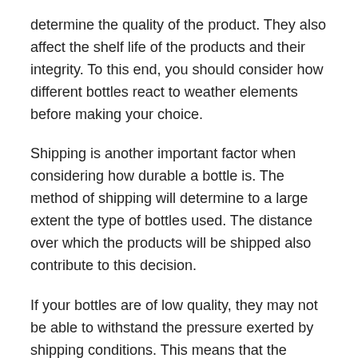determine the quality of the product. They also affect the shelf life of the products and their integrity. To this end, you should consider how different bottles react to weather elements before making your choice.
Shipping is another important factor when considering how durable a bottle is. The method of shipping will determine to a large extent the type of bottles used. The distance over which the products will be shipped also contribute to this decision.
If your bottles are of low quality, they may not be able to withstand the pressure exerted by shipping conditions. This means that the bottles will likely break before they reach their destination. Breaking compromises the quality and quantity of the oils in the bottles.